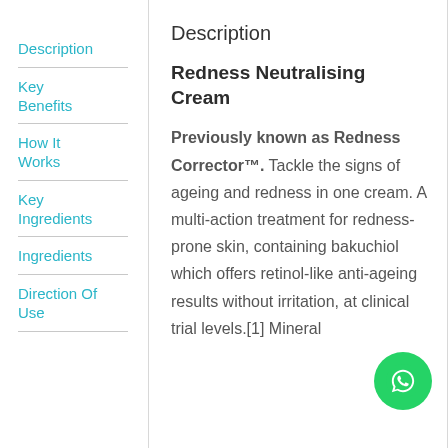Description
Key Benefits
How It Works
Key Ingredients
Ingredients
Direction Of Use
Description
Redness Neutralising Cream
Previously known as Redness Corrector™. Tackle the signs of ageing and redness in one cream. A multi-action treatment for redness-prone skin, containing bakuchiol which offers retinol-like anti-ageing results without irritation, at clinical trial levels.[1] Mineral